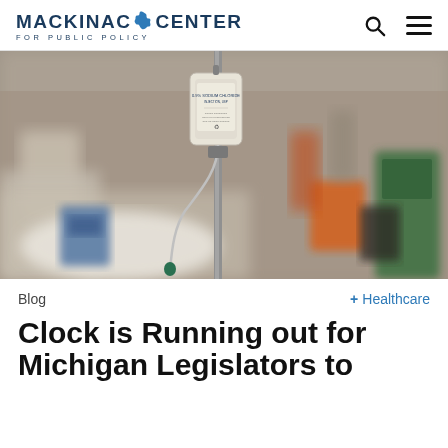MACKINAC CENTER FOR PUBLIC POLICY
[Figure (photo): Hospital room with IV drip bag on a metal pole in the foreground, labeled with medical text. Background shows blurred medical supplies, containers, and equipment on shelves.]
Blog
+ Healthcare
Clock is Running out for Michigan Legislators to